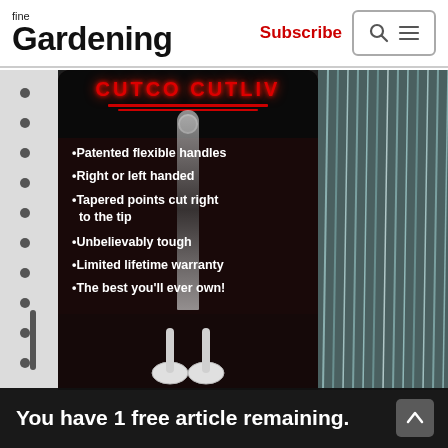fine Gardening — Subscribe
[Figure (photo): Product packaging for scissors/shears hanging on a pegboard display. The packaging is dark (black/dark red) with white bullet-point text listing product features: Patented flexible handles, Right or left handed, Tapered points cut right to the tip, Unbelievably tough, Limited lifetime warranty, The best you'll ever own! The brand name at the top appears to read CUTCO CUTLERY in red illuminated letters. Metal garden stakes are visible to the right on a display rack.]
You have 1 free article remaining.